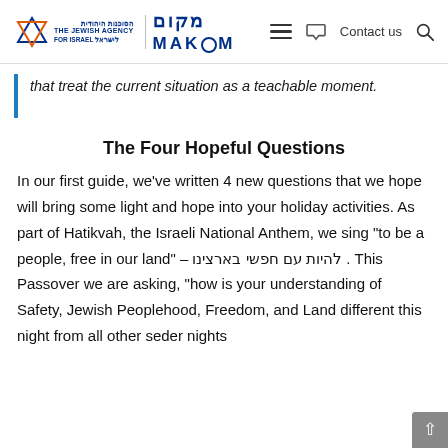The Jewish Agency for Israel | MAKOM — Contact us
that treat the current situation as a teachable moment.
The Four Hopeful Questions
In our first guide, we've written 4 new questions that we hope will bring some light and hope into your holiday activities. As part of Hatikvah, the Israeli National Anthem, we sing "to be a people, free in our land" – להיות עם חפשי בארצינו . This Passover we are asking, "how is your understanding of Safety, Jewish Peoplehood, Freedom, and Land different this night from all other seder nights